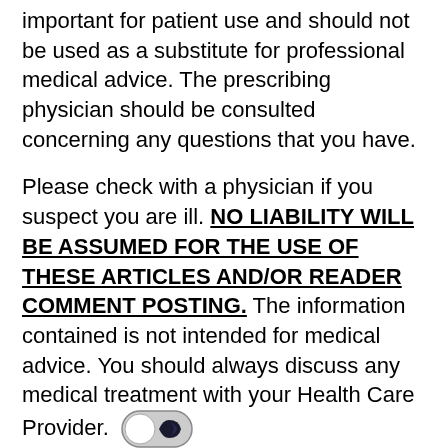important for patient use and should not be used as a substitute for professional medical advice. The prescribing physician should be consulted concerning any questions that you have.
Please check with a physician if you suspect you are ill. NO LIABILITY WILL BE ASSUMED FOR THE USE OF THESE ARTICLES AND/OR READER COMMENT POSTING. The information contained is not intended for medical advice. You should always discuss any medical treatment with your Health Care Provider.
In a medical emergency call the emergency number in your country immediately.